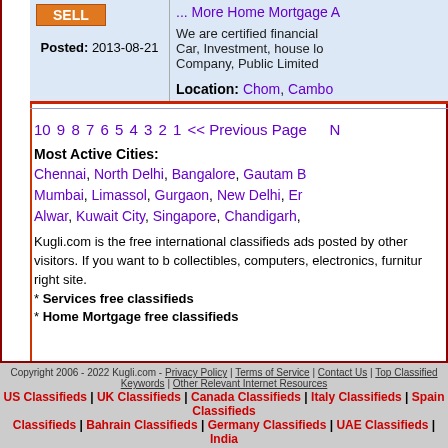... More Home Mortgage A
We are certified financial... Car, Investment, house lo... Company, Public Limited...
Posted: 2013-08-21
Location: Chom, Cambo
10 9 8 7 6 5 4 3 2 1 << Previous Page  N
Most Active Cities: Chennai, North Delhi, Bangalore, Gautam B, Mumbai, Limassol, Gurgaon, New Delhi, Er, Alwar, Kuwait City, Singapore, Chandigarh,
Kugli.com is the free international classifieds ads posted by other visitors. If you want to b collectibles, computers, electronics, furnitur right site.
* Services free classifieds
* Home Mortgage free classifieds
Copyright 2006 - 2022 Kugli.com - Privacy Policy | Terms of Service | Contact Us | Top Classified Keywords | Other Relevant Internet Resources
US Classifieds | UK Classifieds | Canada Classifieds | Italy Classifieds | Spain Classifieds | Bahrain Classifieds | Germany Classifieds | UAE Classifieds | India